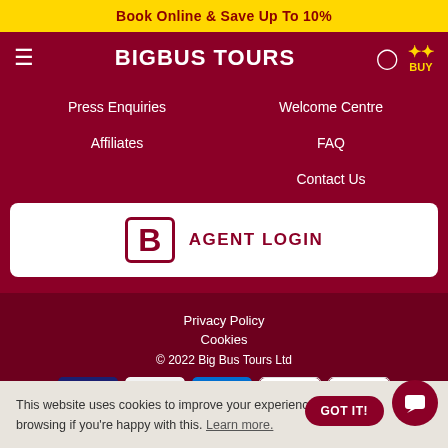Book Online & Save Up To 10%
BIGBUS TOURS
Press Enquiries
Welcome Centre
Affiliates
FAQ
Contact Us
AGENT LOGIN
Privacy Policy
Cookies
© 2022 Big Bus Tours Ltd
[Figure (logo): Payment method logos: VISA, Mastercard, American Express, PayPal, Qvalia]
This website uses cookies to improve your experience. Can browsing if you're happy with this. Learn more.
GOT IT!